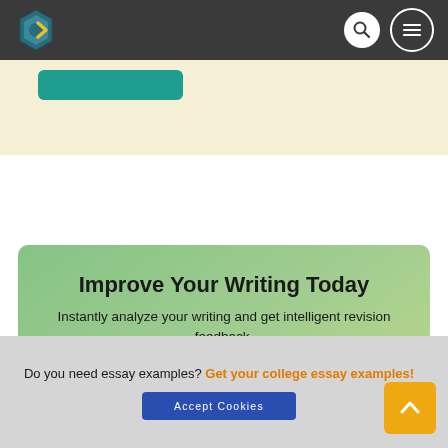Site header with logo, search icon, and menu icon
[Figure (screenshot): Partial cream/yellow background section with a teal 'Get Started' style button partially visible]
Improve Your Writing Today
Instantly analyze your writing and get intelligent revision feedback.
Start Writing
Do you need essay examples? Get your college essay examples!
Accept Cookies